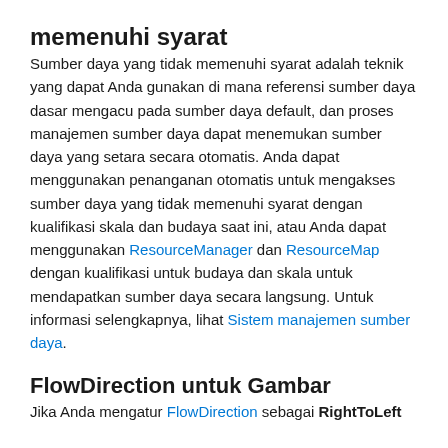memenuhi syarat
Sumber daya yang tidak memenuhi syarat adalah teknik yang dapat Anda gunakan di mana referensi sumber daya dasar mengacu pada sumber daya default, dan proses manajemen sumber daya dapat menemukan sumber daya yang setara secara otomatis. Anda dapat menggunakan penanganan otomatis untuk mengakses sumber daya yang tidak memenuhi syarat dengan kualifikasi skala dan budaya saat ini, atau Anda dapat menggunakan ResourceManager dan ResourceMap dengan kualifikasi untuk budaya dan skala untuk mendapatkan sumber daya secara langsung. Untuk informasi selengkapnya, lihat Sistem manajemen sumber daya.
FlowDirection untuk Gambar
Jika Anda mengatur FlowDirection sebagai RightToLeft